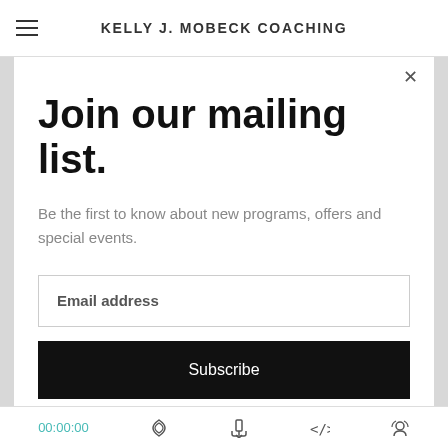KELLY J. MOBECK COACHING
Join our mailing list.
Be the first to know about new programs, offers and special events.
Email address
Subscribe
00:00:00